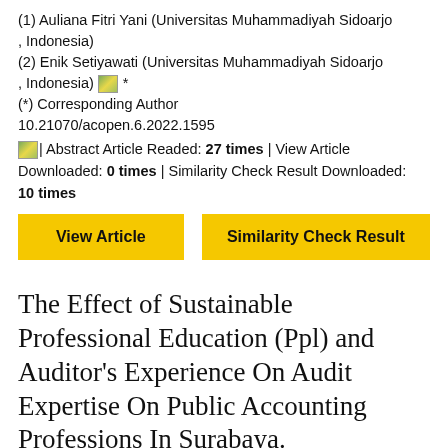(1) Auliana Fitri Yani (Universitas Muhammadiyah Sidoarjo, Indonesia)
(2) Enik Setiyawati (Universitas Muhammadiyah Sidoarjo, Indonesia) *
(*) Corresponding Author
10.21070/acopen.6.2022.1595
| Abstract Article Readed: 27 times | View Article Downloaded: 0 times | Similarity Check Result Downloaded: 10 times
[Figure (other): View Article button (yellow background)]
[Figure (other): Similarity Check Result button (yellow background)]
The Effect of Sustainable Professional Education (Ppl) and Auditor's Experience On Audit Expertise On Public Accounting Professions In Surabaya.